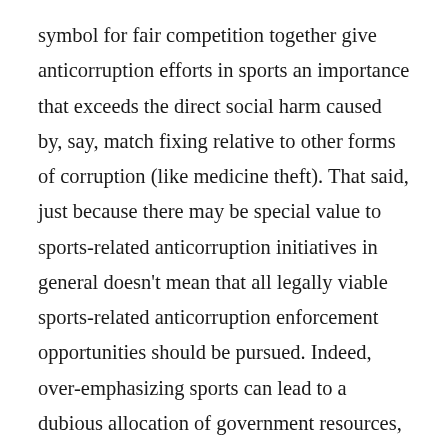symbol for fair competition together give anticorruption efforts in sports an importance that exceeds the direct social harm caused by, say, match fixing relative to other forms of corruption (like medicine theft). That said, just because there may be special value to sports-related anticorruption initiatives in general doesn't mean that all legally viable sports-related anticorruption enforcement opportunities should be pursued. Indeed, over-emphasizing sports can lead to a dubious allocation of government resources, a problem illustrated by a recent US case (United States v. Gatto) in which several defendants were convicted for their roles in a college-basketball bribery scheme.